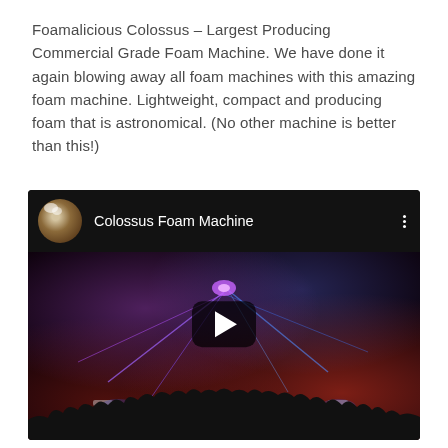Foamalicious Colossus – Largest Producing Commercial Grade Foam Machine. We have done it again blowing away all foam machines with this amazing foam machine. Lightweight, compact and producing foam that is astronomical. (No other machine is better than this!)
[Figure (screenshot): YouTube-style embedded video thumbnail showing a dark concert/event scene with colorful laser beams (purple, blue) and red stage lighting, with a crowd silhouette at the bottom. Video header shows a circular avatar thumbnail and title 'Colossus Foam Machine' with a three-dot menu button. A play button is centered on the video.]